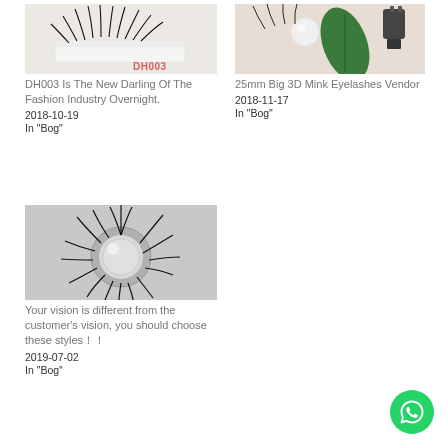[Figure (photo): Photo of fake eyelashes (DH003) on white tray with DH003 label in pink/red text]
DH003 Is The New Darling Of The Fashion Industry Overnight.
2018-10-19
In "Bog"
[Figure (photo): Photo of 25mm big 3D mink eyelashes with green leaf and pearl on beige background]
25mm Big 3D Mink Eyelashes Vendor
2018-11-17
In "Bog"
[Figure (photo): Photo of fluffy 3D mink eyelashes in circular shape on silver/white background]
Your vision is different from the customer's vision, you should choose these styles！！
2019-07-02
In "Bog"